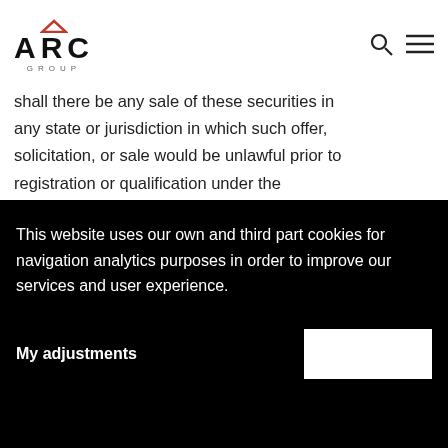ARC GROUP
shall there be any sale of these securities in any state or jurisdiction in which such offer, solicitation, or sale would be unlawful prior to registration or qualification under the
This website uses our own and third part cookies for navigation analytics purposes in order to improve our services and user experience.
My adjustments